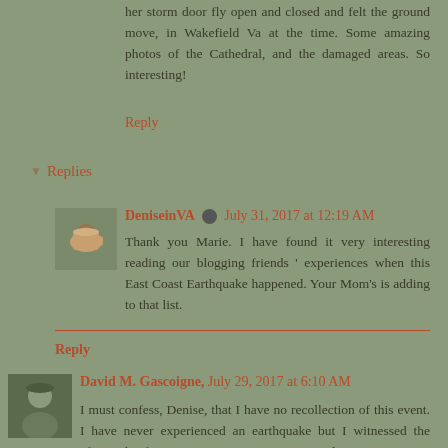her storm door fly open and closed and felt the ground move, in Wakefield Va at the time. Some amazing photos of the Cathedral, and the damaged areas. So interesting!
Reply
Replies
DeniseinVA  July 31, 2017 at 12:19 AM
Thank you Marie. I have found it very interesting reading our blogging friends ' experiences when this East Coast Earthquake happened. Your Mom's is adding to that list.
Reply
David M. Gascoigne,  July 29, 2017 at 6:10 AM
I must confess, Denise, that I have no recollection of this event. I have never experienced an earthquake but I witnessed the aftermath of a serious seismic event in Agadir in Morocco in 1963. The town was pretty much